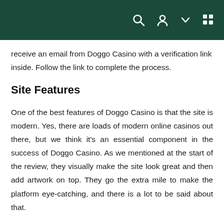[navigation bar with search, user, chevron, and grid icons]
receive an email from Doggo Casino with a verification link inside. Follow the link to complete the process.
Site Features
One of the best features of Doggo Casino is that the site is modern. Yes, there are loads of modern online casinos out there, but we think it's an essential component in the success of Doggo Casino. As we mentioned at the start of the review, they visually make the site look great and then add artwork on top. They go the extra mile to make the platform eye-catching, and there is a lot to be said about that.